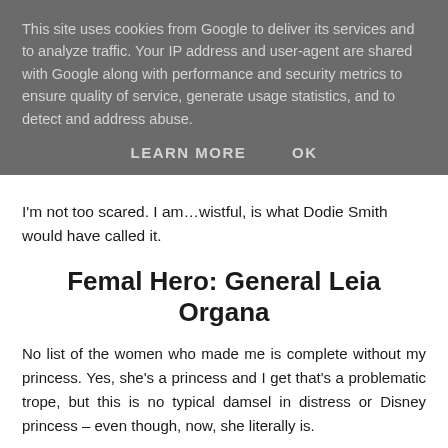This site uses cookies from Google to deliver its services and to analyze traffic. Your IP address and user-agent are shared with Google along with performance and security metrics to ensure quality of service, generate usage statistics, and to detect and address abuse.
LEARN MORE    OK
I'm not too scared. I am…wistful, is what Dodie Smith would have called it.
Femal Hero: General Leia Organa
No list of the women who made me is complete without my princess. Yes, she's a princess and I get that's a problematic trope, but this is no typical damsel in distress or Disney princess – even though, now, she literally is.
She's a politician and a diplomat. She has authority. She's also a resistance fighter against an overwhelming and malevolent totalitarian dictatorship. She may have been adopted into wealth and privilege, but she has made all that